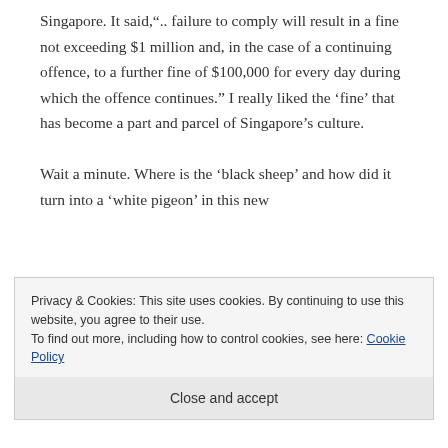Singapore. It said,".. failure to comply will result in a fine not exceeding $1 million and, in the case of a continuing offence, to a further fine of $100,000 for every day during which the offence continues." I really liked the 'fine' that has become a part and parcel of Singapore's culture.
Wait a minute. Where is the 'black sheep' and how did it turn into a 'white pigeon' in this new
Privacy & Cookies: This site uses cookies. By continuing to use this website, you agree to their use.
To find out more, including how to control cookies, see here: Cookie Policy
Close and accept